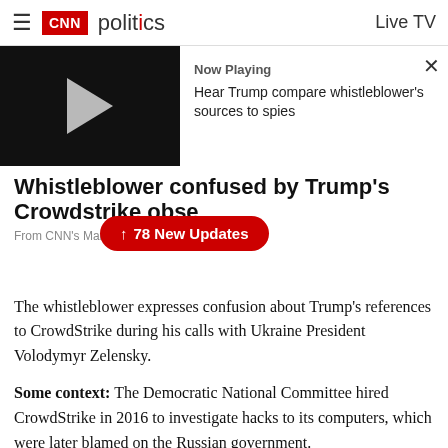CNN politics | Live TV
[Figure (screenshot): Video player thumbnail showing black screen with gray play button triangle. Now Playing: Hear Trump compare whistleblower's sources to spies]
Whistleblower confused by Trump's Crowdstrike obsession
From CNN's Marshall Cohen
↑ 78 New Updates
The whistleblower expresses confusion about Trump's references to CrowdStrike during his calls with Ukraine President Volodymyr Zelensky.
Some context: The Democratic National Committee hired CrowdStrike in 2016 to investigate hacks to its computers, which were later blamed on the Russian government.
In the call, Trump mentioned the US cybersecurity firm